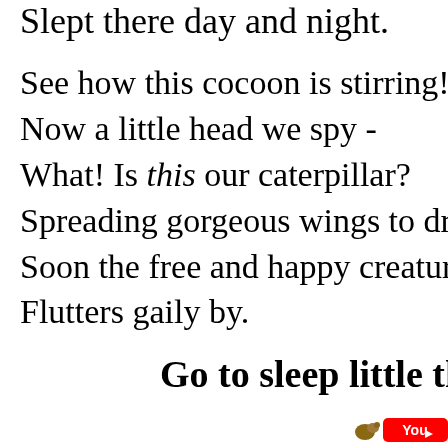Slept there day and night.
See how this cocoon is stirring!
Now a little head we spy -
What! Is this our caterpillar?
Spreading gorgeous wings to dry?
Soon the free and happy creature
Flutters gaily by.
Go to sleep little th
[Figure (logo): YouTube logo badge at bottom right corner]